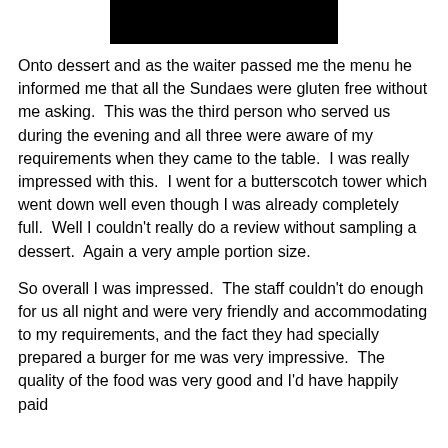[Figure (photo): Redacted/blacked-out image at the top of the page]
Onto dessert and as the waiter passed me the menu he informed me that all the Sundaes were gluten free without me asking.  This was the third person who served us during the evening and all three were aware of my requirements when they came to the table.  I was really impressed with this.  I went for a butterscotch tower which went down well even though I was already completely full.  Well I couldn't really do a review without sampling a dessert.  Again a very ample portion size.
So overall I was impressed.  The staff couldn't do enough for us all night and were very friendly and accommodating to my requirements, and the fact they had specially prepared a burger for me was very impressive.  The quality of the food was very good and I'd have happily paid